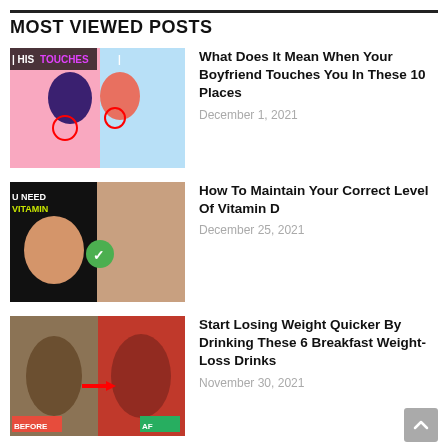MOST VIEWED POSTS
[Figure (illustration): Anime-style illustration with text HIS TOUCHES on pink background]
What Does It Mean When Your Boyfriend Touches You In These 10 Places
December 1, 2021
[Figure (photo): Person with text U NEED VITAMIN on black background with green checkmark]
How To Maintain Your Correct Level Of Vitamin D
December 25, 2021
[Figure (photo): Before and after weight loss image with BEFORE and AF labels and red arrow]
Start Losing Weight Quicker By Drinking These 6 Breakfast Weight-Loss Drinks
November 30, 2021
RECENT POSTS
[Figure (illustration): Medical illustration with text ACKLES (RA on dark background with pink and blue biology imagery]
Crackles (Rales) | Medical Definition and Explanation
August 22, 2022